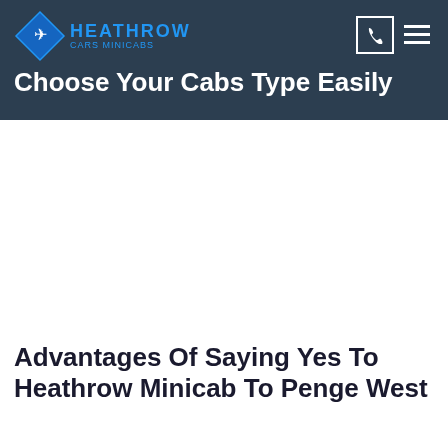[Figure (logo): Heathrow Cars Minicabs logo with diamond shape and airplane icon]
Choose Your Cabs Type Easily
Advantages Of Saying Yes To Heathrow Minicab To Penge West